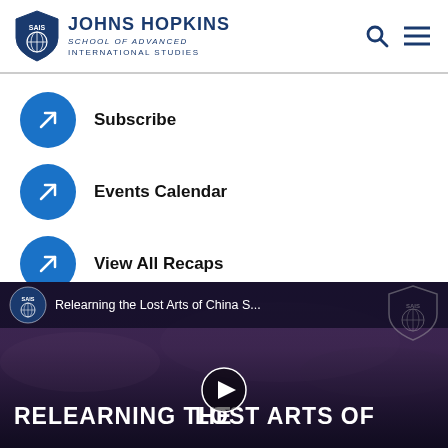Johns Hopkins School of Advanced International Studies
Subscribe
Events Calendar
View All Recaps
[Figure (screenshot): Video thumbnail for 'Relearning the Lost Arts of China S...' with SAIS logo and large title 'RELEARNING THE LOST ARTS OF' overlaid on a purple/dark sky background image.]